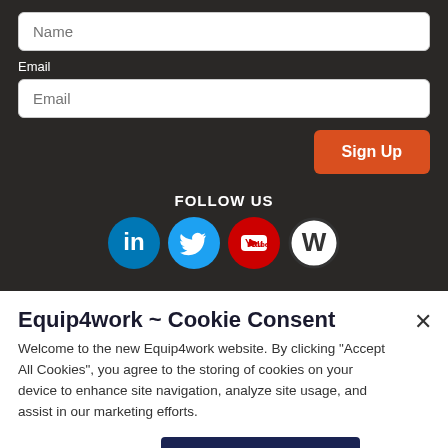Name
Email
Email
Sign Up
FOLLOW US
[Figure (illustration): Social media icons: LinkedIn (blue circle with 'in'), Twitter (blue circle with bird), YouTube (red circle with play button), WordPress (black/white circle with W)]
Equip4work ~ Cookie Consent
Welcome to the new Equip4work website. By clicking “Accept All Cookies”, you agree to the storing of cookies on your device to enhance site navigation, analyze site usage, and assist in our marketing efforts.
Cookies Settings
Accept All Cookies